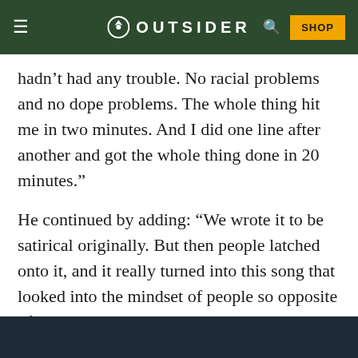OUTSIDER
hadn’t had any trouble. No racial problems and no dope problems. The whole thing hit me in two minutes. And I did one line after another and got the whole thing done in 20 minutes.”
He continued by adding: “We wrote it to be satirical originally. But then people latched onto it, and it really turned into this song that looked into the mindset of people so opposite of who and where we were. My dad’s people. He’s from Muskogee.”